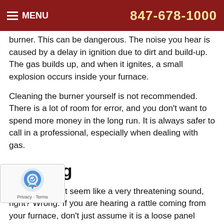MENU  847-678-1000
burner. This can be dangerous. The noise you hear is caused by a delay in ignition due to dirt and build-up. The gas builds up, and when it ignites, a small explosion occurs inside your furnace.
Cleaning the burner yourself is not recommended. There is a lot of room for error, and you don't want to spend more money in the long run. It is always safer to call in a professional, especially when dealing with gas.
Rattling
Rattling doesn't seem like a very threatening sound, right? Wrong. If you are hearing a rattle coming from your furnace, don't just assume it is a loose panel or w. A broken heat exchanger can be the cause of attle. This may be due to a lack of airflow from a filters or issues with your blower. This leads to excess heat, which ultimately leads to a cracked